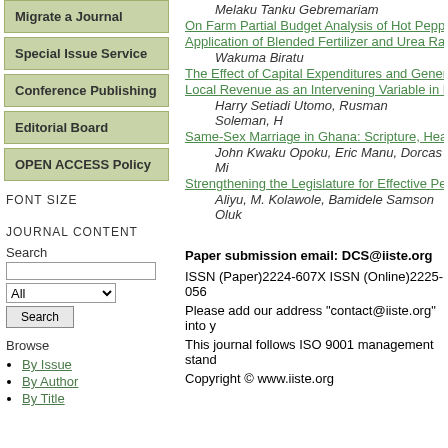Migrate a Journal
Special Issue Service
Conference Publishing
Editorial Board
OPEN ACCESS Policy
FONT SIZE
JOURNAL CONTENT
Search
Browse
By Issue
By Author
By Title
Melaku Tanku Gebremariam
On Farm Partial Budget Analysis of Hot Pepper (
Application of Blended Fertilizer and Urea Rates
Wakuma Biratu
The Effect of Capital Expenditures and General A
Local Revenue as an Intervening Variable in Dist
Harry Setiadi Utomo, Rusman Soleman, H
Same-Sex Marriage in Ghana: Scripture, Health
John Kwaku Opoku, Eric Manu, Dorcas Mi
Strengthening the Legislature for Effective Perfor
Aliyu, M. Kolawole, Bamidele Samson Oluk
Paper submission email: DCS@iiste.org
ISSN (Paper)2224-607X ISSN (Online)2225-056
Please add our address "contact@iiste.org" into y
This journal follows ISO 9001 management stand
Copyright © www.iiste.org